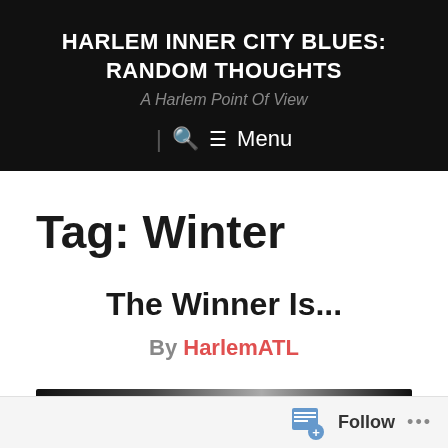HARLEM INNER CITY BLUES: RANDOM THOUGHTS
A Harlem Point Of View
Tag: Winter
The Winner Is...
By HarlemATL
[Figure (photo): Partially visible photograph at bottom of page]
Follow ...